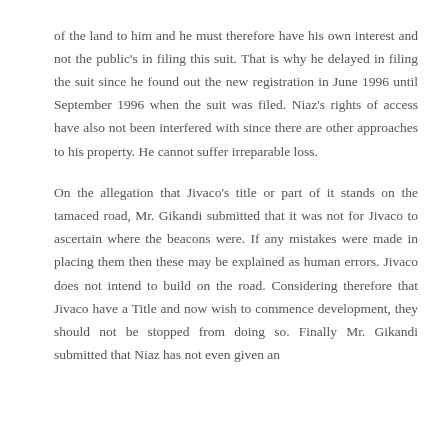of the land to him and he must therefore have his own interest and not the public's in filing this suit. That is why he delayed in filing the suit since he found out the new registration in June 1996 until September 1996 when the suit was filed. Niaz's rights of access have also not been interfered with since there are other approaches to his property. He cannot suffer irreparable loss.
On the allegation that Jivaco's title or part of it stands on the tamaced road, Mr. Gikandi submitted that it was not for Jivaco to ascertain where the beacons were. If any mistakes were made in placing them then these may be explained as human errors. Jivaco does not intend to build on the road. Considering therefore that Jivaco have a Title and now wish to commence development, they should not be stopped from doing so. Finally Mr. Gikandi submitted that Niaz has not even given an